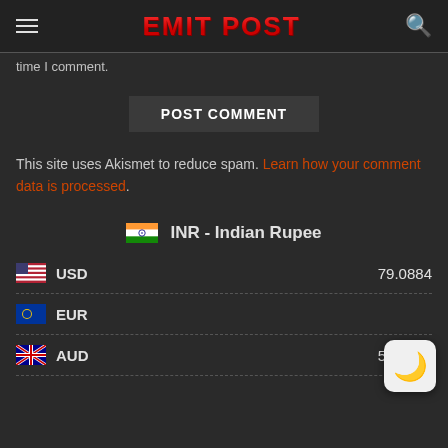EMIT POST
time I comment.
POST COMMENT
This site uses Akismet to reduce spam. Learn how your comment data is processed.
INR - Indian Rupee
| Currency | Rate |
| --- | --- |
| USD | 79.0884 |
| EUR |  |
| AUD | 56.0424 |